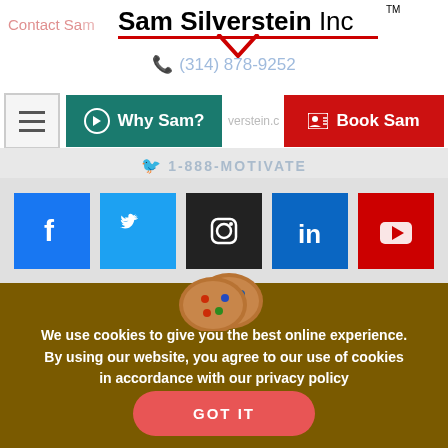Contact Sam
Sam Silverstein Inc
(314) 878-9252
[Figure (screenshot): Navigation bar with hamburger menu, Why Sam? button (teal), and Book Sam button (red)]
1-888-MOTIVATE
[Figure (infographic): Social media icons: Facebook, Twitter, Instagram, LinkedIn, YouTube]
[Figure (photo): Cookie emoji illustration with M&M-style candy cookies]
We use cookies to give you the best online experience. By using our website, you agree to our use of cookies in accordance with our privacy policy
GOT IT